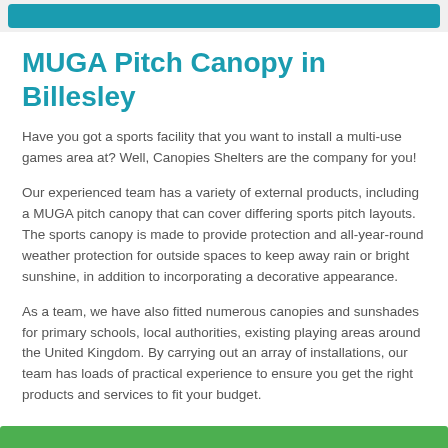[Figure (other): Teal/blue navigation button bar at the top of the page]
MUGA Pitch Canopy in Billesley
Have you got a sports facility that you want to install a multi-use games area at? Well, Canopies Shelters are the company for you!
Our experienced team has a variety of external products, including a MUGA pitch canopy that can cover differing sports pitch layouts. The sports canopy is made to provide protection and all-year-round weather protection for outside spaces to keep away rain or bright sunshine, in addition to incorporating a decorative appearance.
As a team, we have also fitted numerous canopies and sunshades for primary schools, local authorities, existing playing areas around the United Kingdom. By carrying out an array of installations, our team has loads of practical experience to ensure you get the right products and services to fit your budget.
[Figure (other): Green button/bar at the bottom of the page]